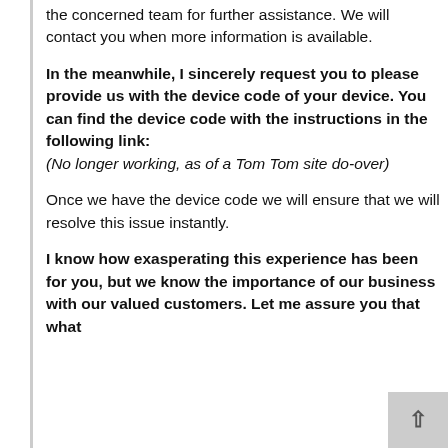the concerned team for further assistance. We will contact you when more information is available.
In the meanwhile, I sincerely request you to please provide us with the device code of your device. You can find the device code with the instructions in the following link: (No longer working, as of a Tom Tom site do-over)
Once we have the device code we will ensure that we will resolve this issue instantly.
I know how exasperating this experience has been for you, but we know the importance of our business with our valued customers. Let me assure you that what